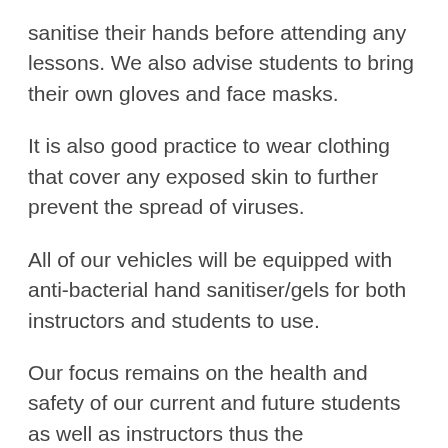sanitise their hands before attending any lessons. We also advise students to bring their own gloves and face masks.
It is also good practice to wear clothing that cover any exposed skin to further prevent the spread of viruses.
All of our vehicles will be equipped with anti-bacterial hand sanitiser/gels for both instructors and students to use.
Our focus remains on the health and safety of our current and future students as well as instructors thus the implementations above during these testing times.